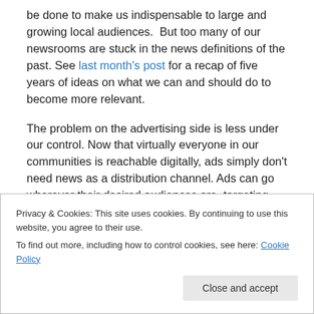be done to make us indispensable to large and growing local audiences.  But too many of our newsrooms are stuck in the news definitions of the past. See last month's post for a recap of five years of ideas on what we can and should do to become more relevant.
The problem on the advertising side is less under our control. Now that virtually everyone in our communities is reachable digitally, ads simply don't need news as a distribution channel. Ads can go wherever their desired audiences are, targeting individual characteristics and
Privacy & Cookies: This site uses cookies. By continuing to use this website, you agree to their use.
To find out more, including how to control cookies, see here: Cookie Policy